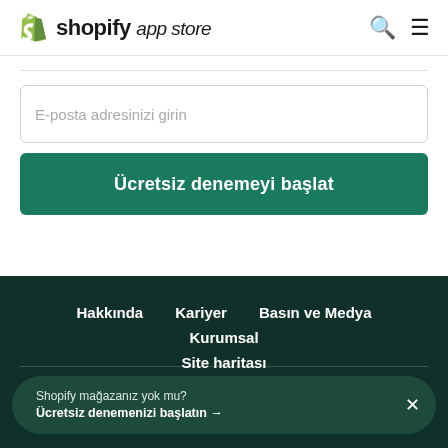shopify app store
[Figure (screenshot): Email input field with placeholder text 'E-posta adresinizi girin']
[Figure (screenshot): Green button labeled 'Ücretsiz denemeyi başlat']
Hakkında   Kariyer   Basın ve Medya   Kurumsal   Site haritası
Shopify mağazanız yok mu? Ücretsiz denemenizi başlatın →